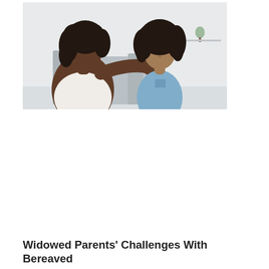[Figure (photo): A woman (mother) with curly dark hair, seen from behind/side, reaching out to hold the face of a young girl with curly dark hair wearing a blue dress. They are indoors with a light background suggesting a living room setting.]
Widowed Parents' Challenges With Bereaved